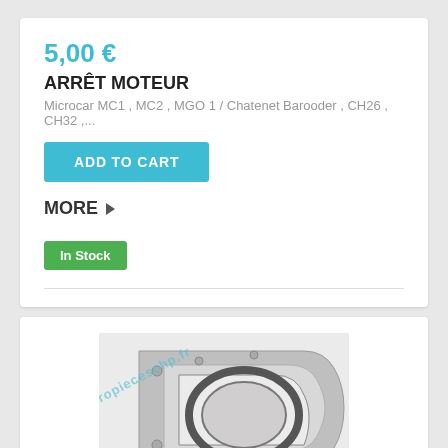5,00 €
ARRÊT MOTEUR
Microcar MC1 , MC2 , MGO 1 / Chatenet Barooder , CH26 , CH32 ,...
ADD TO CART
MORE ▶
In Stock
[Figure (photo): Photo of an engine stop / crankshaft rear seal plate part (arrêt moteur) — a D-shaped metal gasket/seal plate with bolt holes, with a diagonal watermark reading 'propieceschp.fr' across the image.]